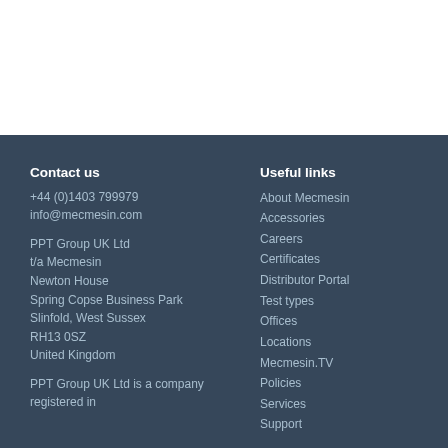Contact us
+44 (0)1403 799979
info@mecmesin.com
PPT Group UK Ltd
t/a Mecmesin
Newton House
Spring Copse Business Park
Slinfold, West Sussex
RH13 0SZ
United Kingdom
PPT Group UK Ltd is a company registered in
Useful links
About Mecmesin
Accessories
Careers
Certificates
Distributor Portal
Test types
Offices
Locations
Mecmesin.TV
Policies
Services
Support